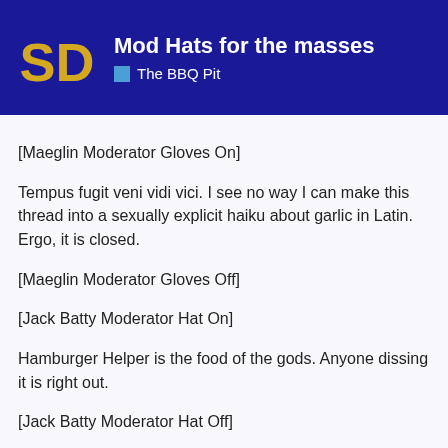Mod Hats for the masses | The BBQ Pit
[Maeglin Moderator Gloves On]
Tempus fugit veni vidi vici. I see no way I can make this thread into a sexually explicit haiku about garlic in Latin. Ergo, it is closed.
[Maeglin Moderator Gloves Off]

[Jack Batty Moderator Hat On]
Hamburger Helper is the food of the gods. Anyone dissing it is right out.
[Jack Batty Moderator Hat Off]
Fenris
Guest
Oct '01
BTW: I probably should have done that in two parts – in no way do I associate Opal with WB or JDT.